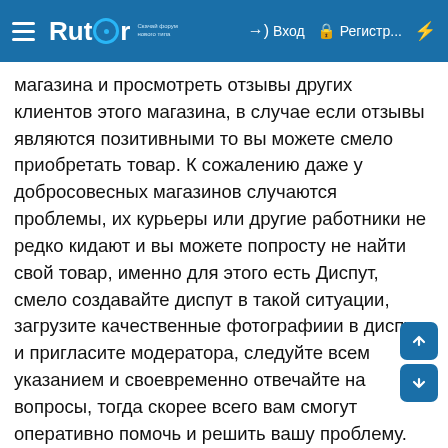Rutor — Вход | Регистр...
магазина и просмотреть отзывы других клиентов этого магазина, в случае если отзывы являются позитивными то вы можете смело приобретать товар. К сожалению даже у добросовесных магазинов случаются проблемы, их курьеры или другие работники не редко кидают и вы можете попросту не найти свой товар, именно для этого есть Диспут, смело создавайте диспут в такой ситуации, загрузите качественные фотографиии в диспут и пригласите модератора, следуйте всем указанием и своевременно отвечайте на вопросы, тогда скорее всего вам смогут оперативно помочь и решить вашу проблему. Но если у вашего аккаунта на гидре имеется слишком мало отзывов то результат могут вынести не в вашу пользу, ну тут уже ничего не поделаешь, что бы вам доверяли нужно сделать хорошую репутацию о своем аккаунте. Если вы видите у магазина много плохих отзывов то конечно же лучше не делать в нем никаких покупок, скорее всего такой магазин обманывает своих покупателей. Старайтесь оплачивать ваши покупки исключительно в битконах, ведь это является